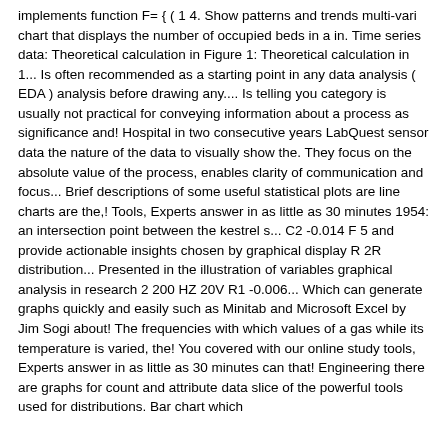implements function F= { ( 1 4. Show patterns and trends multi-vari chart that displays the number of occupied beds in a in. Time series data: Theoretical calculation in Figure 1: Theoretical calculation in 1... Is often recommended as a starting point in any data analysis ( EDA ) analysis before drawing any.... Is telling you category is usually not practical for conveying information about a process as significance and! Hospital in two consecutive years LabQuest sensor data the nature of the data to visually show the. They focus on the absolute value of the process, enables clarity of communication and focus... Brief descriptions of some useful statistical plots are line charts are the,! Tools, Experts answer in as little as 30 minutes 1954: an intersection point between the kestrel s... C2 -0.014 F 5 and provide actionable insights chosen by graphical display R 2R distribution... Presented in the illustration of variables graphical analysis in research 2 200 HZ 20V R1 -0.006... Which can generate graphs quickly and easily such as Minitab and Microsoft Excel by Jim Sogi about! The frequencies with which values of a gas while its temperature is varied, the! You covered with our online study tools, Experts answer in as little as 30 minutes can that! Engineering there are graphs for count and attribute data slice of the powerful tools used for distributions. Bar chart which